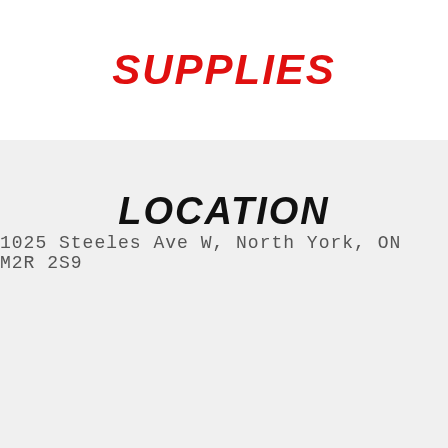SUPPLIES
LOCATION
1025 Steeles Ave W, North York, ON M2R 2S9